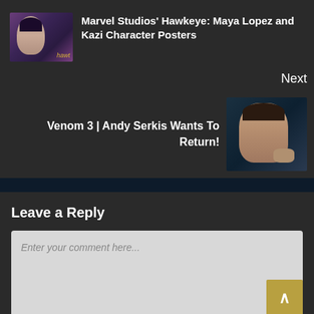Marvel Studios' Hawkeye: Maya Lopez and Kazi Character Posters
Next
Venom 3 | Andy Serkis Wants To Return!
Leave a Reply
Enter your comment here...
RELATED NEWS